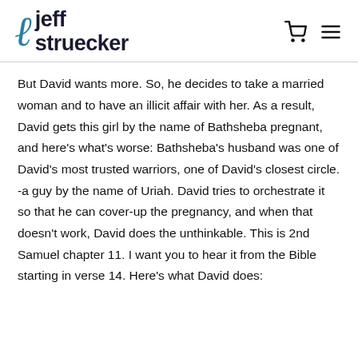jeff struecker
But David wants more. So, he decides to take a married woman and to have an illicit affair with her. As a result, David gets this girl by the name of Bathsheba pregnant, and here's what's worse: Bathsheba's husband was one of David's most trusted warriors, one of David's closest circle. -a guy by the name of Uriah. David tries to orchestrate it so that he can cover-up the pregnancy, and when that doesn't work, David does the unthinkable. This is 2nd Samuel chapter 11. I want you to hear it from the Bible starting in verse 14. Here's what David does: